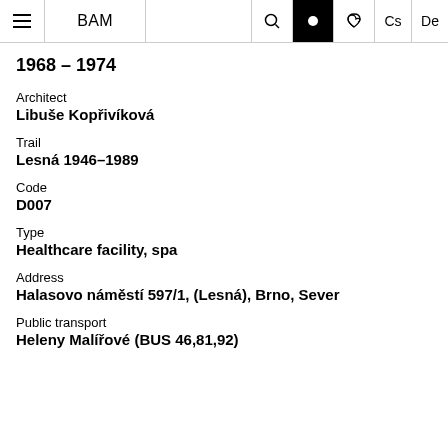BAM | Cs | De
1968 – 1974
Architect
Libuše Kopřivíková
Trail
Lesná 1946–1989
Code
D007
Type
Healthcare facility, spa
Address
Halasovo náměstí 597/1, (Lesná), Brno, Sever
Public transport
Heleny Malířové (BUS 46,81,92)